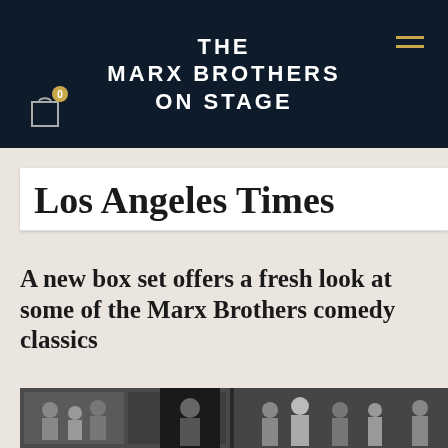THE MARX BROTHERS ON STAGE
[Figure (logo): Los Angeles Times masthead logo in blackletter typeface]
A new box set offers a fresh look at some of the Marx Brothers comedy classics
[Figure (photo): Black and white collage photo strip of Marx Brothers scenes with people in formal attire]